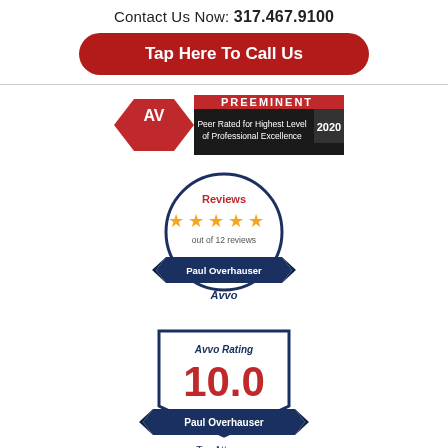Contact Us Now: 317.467.9100
Tap Here To Call Us
[Figure (logo): AV Preeminent 2020 – Peer Rated for Highest Level of Professional Excellence badge]
[Figure (logo): Avvo Reviews badge – 5 stars out of 12 reviews – Paul Overhauser]
[Figure (logo): Avvo Rating 10.0 – Paul Overhauser – Top Attorney badge]
[Figure (logo): Avvo badge (partial, bottom)]